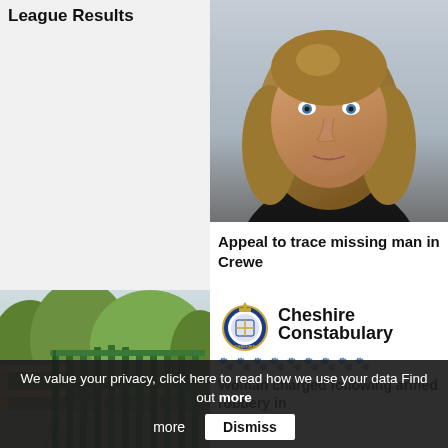League Results
[Figure (photo): Mugshot of a man with shoulder-length blonde hair and blue eyes wearing a dark shirt, against a grey background]
Appeal to trace missing man in Crewe
[Figure (photo): Photo of a green metal fence/gate structure with wooden bridge railings, trees and foliage in background]
[Figure (logo): Cheshire Constabulary logo: police badge/crest with crown on top, text 'Cheshire Constabulary', row of blue paw print symbols below]
Woman charged following armed robbery in
We value your privacy, click here to read how we use your data Find out more
Dismiss